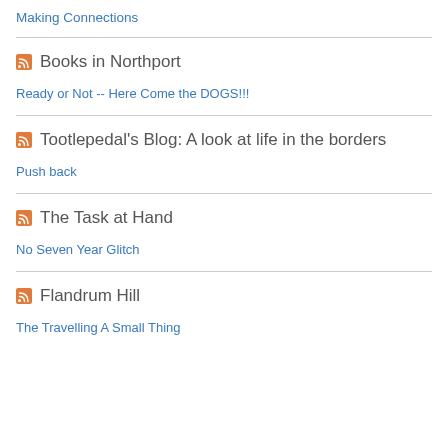Making Connections
Books in Northport
Ready or Not -- Here Come the DOGS!!!
Tootlepedal's Blog: A look at life in the borders
Push back
The Task at Hand
No Seven Year Glitch
Flandrum Hill
The Travelling A Small Thing